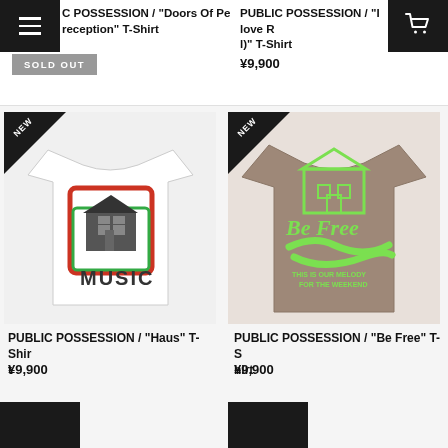PUBLIC POSSESSION / "Doors Of Pe rception" T-Shirt | PUBLIC POSSESSION / "I love R I)" T-Shirt
SOLD OUT
¥9,900
[Figure (photo): White T-shirt with house illustration and MUSIC text, NEW badge]
PUBLIC POSSESSION / "Haus" T-Shirt
¥9,900
[Figure (photo): Brown T-shirt with Be Free house illustration and green print, NEW badge]
PUBLIC POSSESSION / "Be Free" T-Shirt
¥9,900